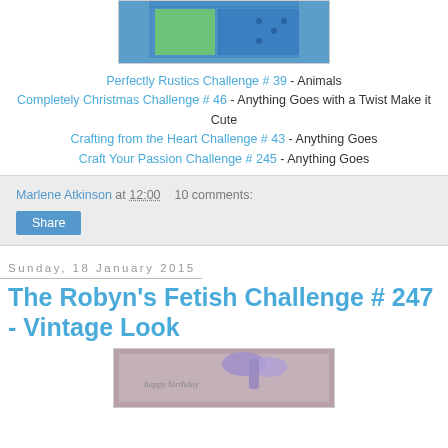[Figure (photo): Partial view of a crafted card with blue/teal patterned background and green accent, cropped at top of page]
Perfectly Rustics Challenge # 39 - Animals
Completely Christmas Challenge # 46 - Anything Goes with a Twist Make it Cute
Crafting from the Heart Challenge # 43 - Anything Goes
Craft Your Passion Challenge # 245 - Anything Goes
Marlene Atkinson at 12:00   10 comments:
Share
Sunday, 18 January 2015
The Robyn's Fetish Challenge # 247 - Vintage Look
[Figure (photo): Partial view of a gift or card with purple/lavender bow, vintage birthday theme, cropped at bottom of page]